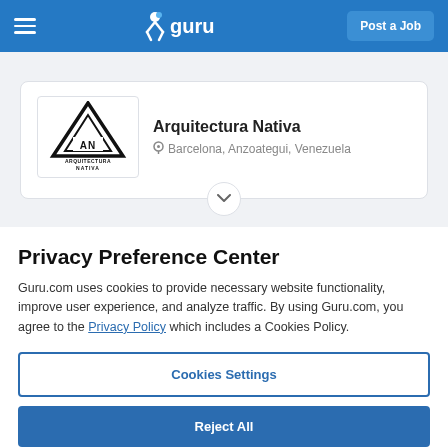guru — Post a Job
[Figure (logo): Arquitectura Nativa company logo: black triangle with stylized 'AN' text and 'ARQUITECTURA NATIVA' below]
Arquitectura Nativa
Barcelona, Anzoategui, Venezuela
Privacy Preference Center
Guru.com uses cookies to provide necessary website functionality, improve user experience, and analyze traffic. By using Guru.com, you agree to the Privacy Policy which includes a Cookies Policy.
Cookies Settings
Reject All